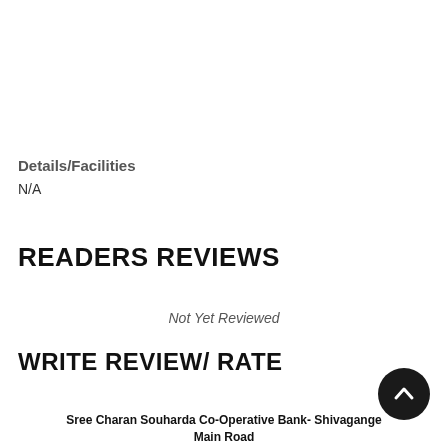Details/Facilities
N/A
READERS REVIEWS
Not Yet Reviewed
WRITE REVIEW/ RATE
Sree Charan Souharda Co-Operative Bank- Shivagange Main Road